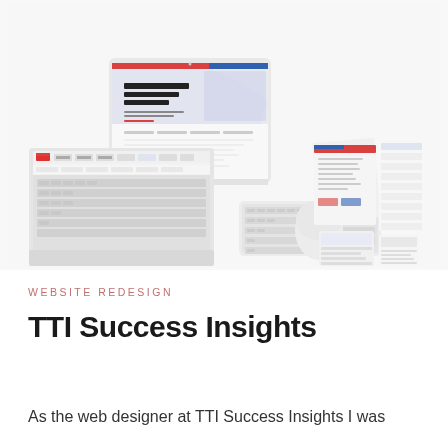[Figure (illustration): Top-down flat-lay mockup of Apple devices (iMac showing a website with 'The New World of Work Needs New Tools', MacBook, wireless keyboard, mouse) and printed marketing materials (brochures, cards) arranged on a white surface — a website redesign portfolio showcase for TTI Success Insights.]
WEBSITE REDESIGN
TTI Success Insights
As the web designer at TTI Success Insights I was